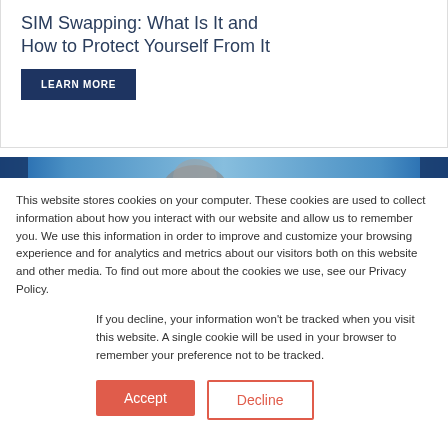SIM Swapping: What Is It and How to Protect Yourself From It
LEARN MORE
[Figure (photo): Banner image with blue gradient and partial person's head/face visible]
This website stores cookies on your computer. These cookies are used to collect information about how you interact with our website and allow us to remember you. We use this information in order to improve and customize your browsing experience and for analytics and metrics about our visitors both on this website and other media. To find out more about the cookies we use, see our Privacy Policy.
If you decline, your information won't be tracked when you visit this website. A single cookie will be used in your browser to remember your preference not to be tracked.
Accept
Decline